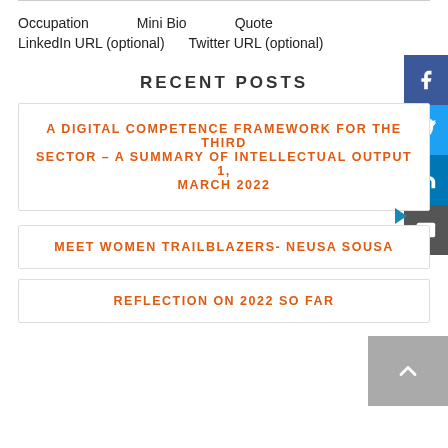Occupation   Mini Bio   Quote
LinkedIn URL (optional)   Twitter URL (optional)
RECENT POSTS
A DIGITAL COMPETENCE FRAMEWORK FOR THE THIRD SECTOR – A SUMMARY OF INTELLECTUAL OUTPUT 1, MARCH 2022
MEET WOMEN TRAILBLAZERS- NEUSA SOUSA
REFLECTION ON 2022 SO FAR